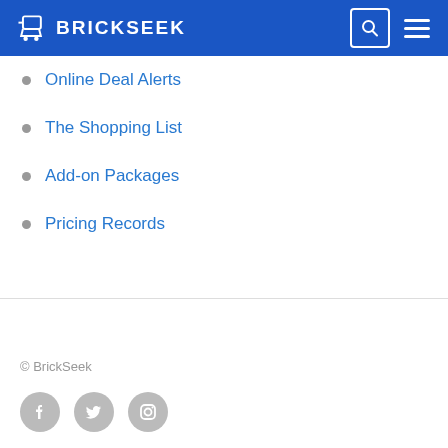BRICKSEEK
Online Deal Alerts
The Shopping List
Add-on Packages
Pricing Records
© BrickSeek